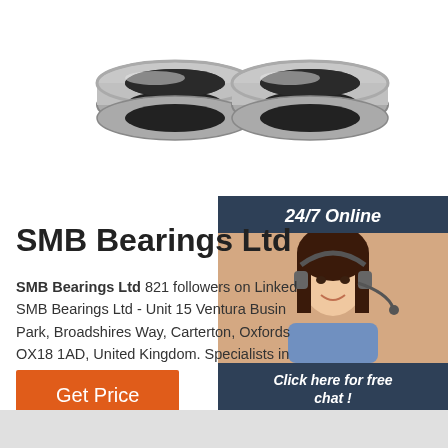[Figure (photo): Two pairs of miniature ball bearings (metal ring bearings) on white background]
[Figure (photo): 24/7 Online customer service representative - woman with headset smiling, dark background sidebar with orange QUOTATION button and 'Click here for free chat!' text]
SMB Bearings Ltd
SMB Bearings Ltd 821 followers on LinkedIn. SMB Bearings Ltd - Unit 15 Ventura Business Park, Broadshires Way, Carterton, Oxfordshire OX18 1AD, United Kingdom. Specialists in miniature bearings ...
Get Price
[Figure (other): Bottom gray bar / advertisement placeholder]